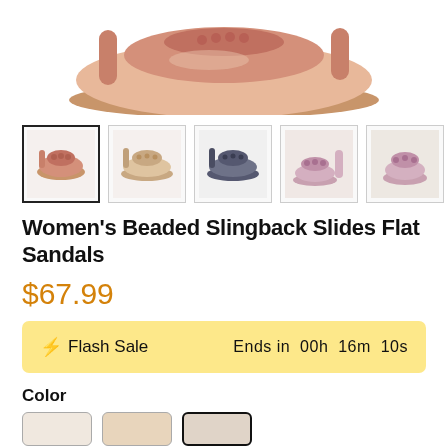[Figure (photo): Top portion of a pink/mauve women's beaded slingback flat sandal shown from above against white background]
[Figure (photo): Row of 5 product thumbnail images: pink sandal (selected), beige/nude sandal, dark gray/navy sandal, pink sandal close-up, another close-up of pink sandal]
Women's Beaded Slingback Slides Flat Sandals
$67.99
⚡ Flash Sale   Ends in  00h  16m  10s
Color